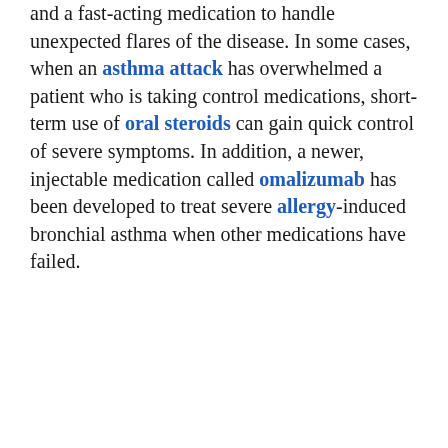and a fast-acting medication to handle unexpected flares of the disease. In some cases, when an asthma attack has overwhelmed a patient who is taking control medications, short-term use of oral steroids can gain quick control of severe symptoms. In addition, a newer, injectable medication called omalizumab has been developed to treat severe allergy-induced bronchial asthma when other medications have failed.